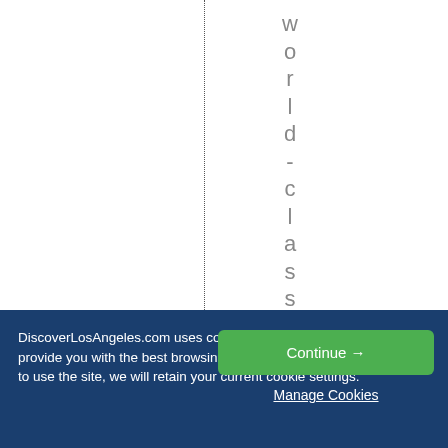world-classathle
DiscoverLosAngeles.com uses cookies to ensure that we provide you with the best browsing experience. By continuing to use the site, we will retain your current cookie settings.
Continue →
Manage Cookies